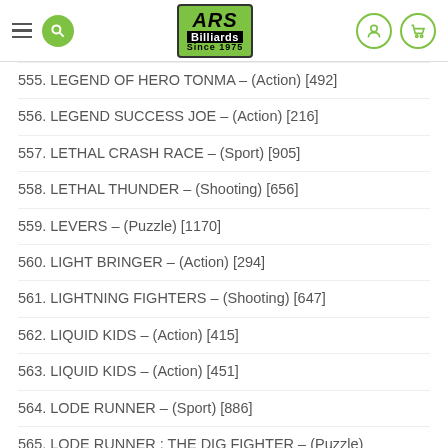ARS Billiards Since 1975
555. LEGEND OF HERO TONMA – (Action) [492]
556. LEGEND SUCCESS JOE – (Action) [216]
557. LETHAL CRASH RACE – (Sport) [905]
558. LETHAL THUNDER – (Shooting) [656]
559. LEVERS – (Puzzle) [1170]
560. LIGHT BRINGER – (Action) [294]
561. LIGHTNING FIGHTERS – (Shooting) [647]
562. LIQUID KIDS – (Action) [415]
563. LIQUID KIDS – (Action) [451]
564. LODE RUNNER – (Sport) [886]
565. LODE RUNNER : THE DIG FIGHTER – (Puzzle)